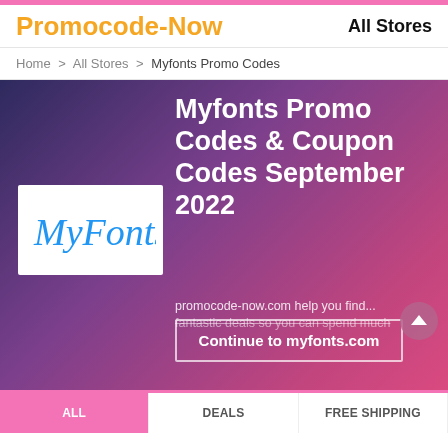Promocode-Now   All Stores
Home > All Stores > Myfonts Promo Codes
Myfonts Promo Codes & Coupon Codes September 2022
[Figure (logo): MyFonts logo — cursive blue 'MyFonts' text on white background]
promocode-now.com help you find... fantastic deals so you can spend much
Continue to myfonts.com
ALL   DEALS   FREE SHIPPING